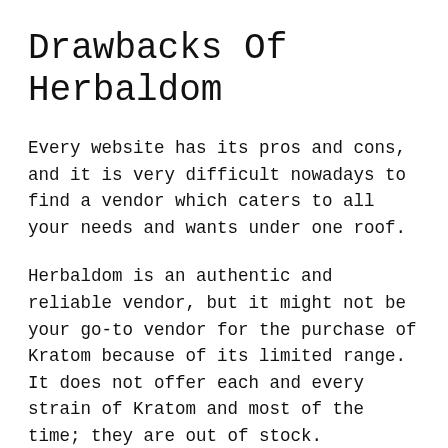Drawbacks Of Herbaldom
Every website has its pros and cons, and it is very difficult nowadays to find a vendor which caters to all your needs and wants under one roof.
Herbaldom is an authentic and reliable vendor, but it might not be your go-to vendor for the purchase of Kratom because of its limited range. It does not offer each and every strain of Kratom and most of the time; they are out of stock.